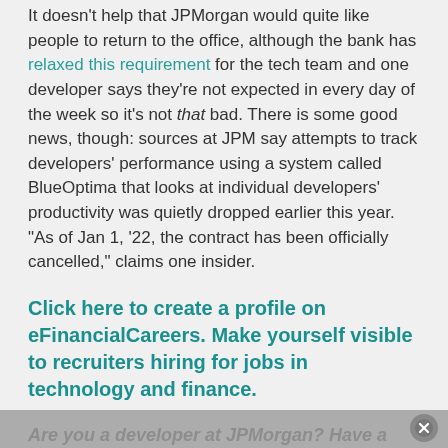It doesn't help that JPMorgan would quite like people to return to the office, although the bank has relaxed this requirement for the tech team and one developer says they're not expected in every day of the week so it's not that bad. There is some good news, though: sources at JPM say attempts to track developers' performance using a system called BlueOptima that looks at individual developers' productivity was quietly dropped earlier this year. "As of Jan 1, '22, the contract has been officially cancelled," claims one insider.
Click here to create a profile on eFinancialCareers. Make yourself visible to recruiters hiring for jobs in technology and finance.
Are you a developer at JPMorgan? Have a confidential story, tip, or comment you'd like to share? Contact: [email protected] in the first instance. Whatsapp/Signal/Telegram also available (Telegram: @SarahButcher)